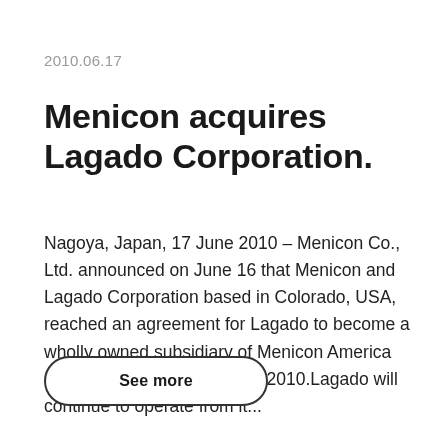2010.06.17
Menicon acquires Lagado Corporation.
Nagoya, Japan, 17 June 2010 – Menicon Co., Ltd. announced on June 16 that Menicon and Lagado Corporation based in Colorado, USA, reached an agreement for Lagado to become a wholly owned subsidiary of Menicon America Inc., effective as of June 14, 2010.Lagado will continue to operate from it...
See more